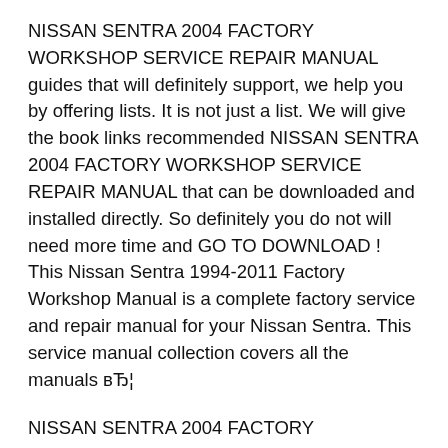NISSAN SENTRA 2004 FACTORY WORKSHOP SERVICE REPAIR MANUAL guides that will definitely support, we help you by offering lists. It is not just a list. We will give the book links recommended NISSAN SENTRA 2004 FACTORY WORKSHOP SERVICE REPAIR MANUAL that can be downloaded and installed directly. So definitely you do not will need more time and GO TO DOWNLOAD ! This Nissan Sentra 1994-2011 Factory Workshop Manual is a complete factory service and repair manual for your Nissan Sentra. This service manual collection covers all the manuals вЂ¦
NISSAN SENTRA 2004 FACTORY WORKSHOP SERVICE REPAIR MANUAL guides that will